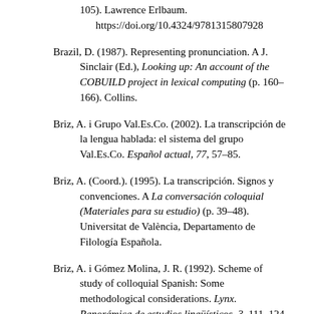https://doi.org/10.4324/9781315807928
Brazil, D. (1987). Representing pronunciation. A J. Sinclair (Ed.), Looking up: An account of the COBUILD project in lexical computing (p. 160–166). Collins.
Briz, A. i Grupo Val.Es.Co. (2002). La transcripción de la lengua hablada: el sistema del grupo Val.Es.Co. Español actual, 77, 57–85.
Briz, A. (Coord.). (1995). La transcripción. Signos y convenciones. A La conversación coloquial (Materiales para su estudio) (p. 39–48). Universitat de València, Departamento de Filología Española.
Briz, A. i Gómez Molina, J. R. (1992). Scheme of study of colloquial Spanish: Some methodological considerations. Lynx. Panorámica de estudios lingüísticos, 3, 111–124.
Cappeau, P. (1997). Données erronées : quelles erreurs